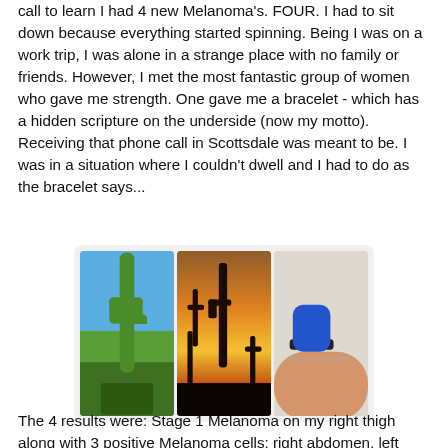call to learn I had 4 new Melanoma's. FOUR. I had to sit down because everything started spinning. Being I was on a work trip, I was alone in a strange place with no family or friends. However, I met the most fantastic group of women who gave me strength. One gave me a bracelet - which has a hidden scripture on the underside (now my motto). Receiving that phone call in Scottsdale was meant to be. I was in a situation where I couldn't dwell and I had to do as the bracelet says...
[Figure (photo): Three photos side by side: (1) tall saguaro cactus in daytime with blue sky and green vegetation, (2) desert sunset with silhouetted cacti against orange and yellow sky, (3) close-up of a hand with blue nail polish holding a black bracelet with small text inscription on underside]
The 4 results were: Stage 1 Melanoma on my right thigh along with 3 positive Melanoma cells: right abdomen, left thigh and right inner thigh. I made an appt to have the stage 1 removed and abruptly cancelled our Memorial Day plans